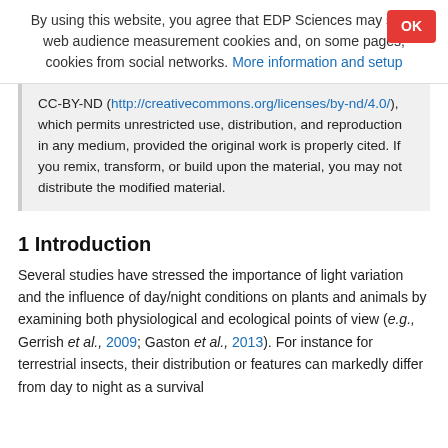By using this website, you agree that EDP Sciences may store web audience measurement cookies and, on some pages, cookies from social networks. More information and setup
CC-BY-ND (http://creativecommons.org/licenses/by-nd/4.0/), which permits unrestricted use, distribution, and reproduction in any medium, provided the original work is properly cited. If you remix, transform, or build upon the material, you may not distribute the modified material.
1 Introduction
Several studies have stressed the importance of light variation and the influence of day/night conditions on plants and animals by examining both physiological and ecological points of view (e.g., Gerrish et al., 2009; Gaston et al., 2013). For instance for terrestrial insects, their distribution or features can markedly differ from day to night as a survival